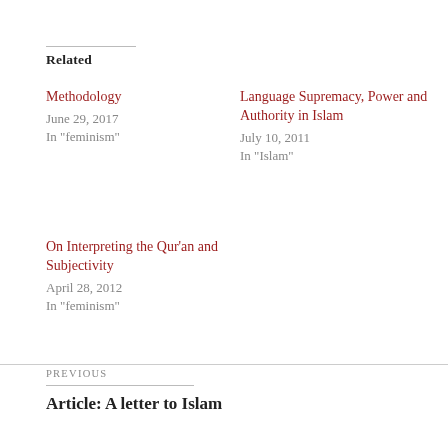Related
Methodology
June 29, 2017
In "feminism"
Language Supremacy, Power and Authority in Islam
July 10, 2011
In "Islam"
On Interpreting the Qur'an and Subjectivity
April 28, 2012
In "feminism"
PREVIOUS
Article: A letter to Islam